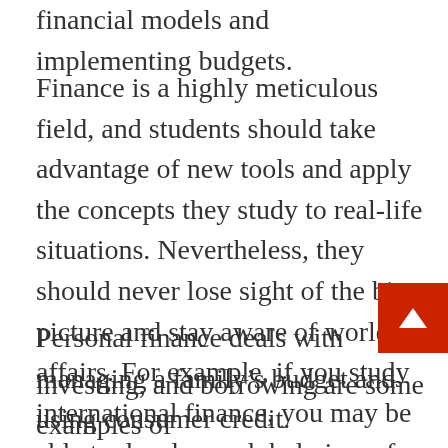financial models and implementing budgets.
Finance is a highly meticulous field, and students should take advantage of new tools and apply the concepts they study to real-life situations. Nevertheless, they should never lose sight of the big picture and stay aware of world affairs. For example, if you study international finance, you may be able to develop a global view of the economy and learn about the world's politics. Once you have acquired this knowledge, it is time to pursue a career in finance!
Personal finance deals with managing a family's budget and using consumer credit. Governments use public finance to manage their tax systems, budget procedures, and debt load. Savings, investing, and borrowing are some examples of